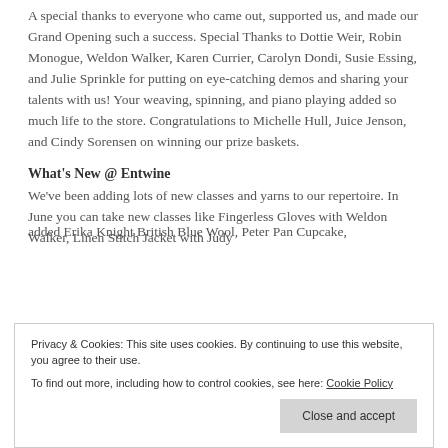A special thanks to everyone who came out, supported us, and made our Grand Opening such a success. Special Thanks to Dottie Weir, Robin Monogue, Weldon Walker, Karen Currier, Carolyn Dondi, Susie Essing, and Julie Sprinkle for putting on eye-catching demos and sharing your talents with us! Your weaving, spinning, and piano playing added so much life to the store. Congratulations to Michelle Hull, Juice Jenson, and Cindy Sorensen on winning our prize baskets.
What's New @ Entwine
We've been adding lots of new classes and yarns to our repertoire. In June you can take new classes like Fingerless Gloves with Weldon Walker, Linen Stitch Jacket with Judy
added Erika Knight British Blue Wool, Peter Pan Cupcake,
Privacy & Cookies: This site uses cookies. By continuing to use this website, you agree to their use.
To find out more, including how to control cookies, see here: Cookie Policy